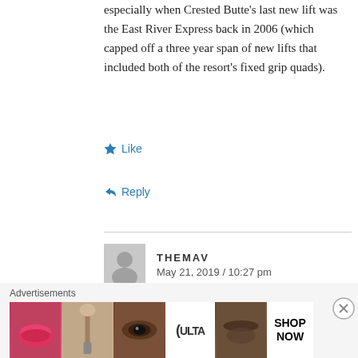especially when Crested Butte's last new lift was the East River Express back in 2006 (which capped off a three year span of new lifts that included both of the resort's fixed grip quads).
★ Like
↩ Reply
THEMAV
May 21, 2019 / 10:27 pm
It'll be interesting to see if their new Skytrac lift gets Skytrac sheaves, or LPOA sheaves.
Advertisements
[Figure (other): Advertisement banner for ULTA beauty featuring cosmetic product images (lips with lipstick, makeup brush, eye, ULTA logo, eyebrow, SHOP NOW text)]